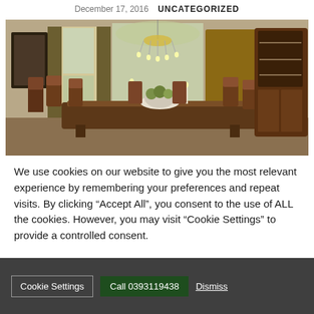December 17, 2016   UNCATEGORIZED
[Figure (photo): Elegant formal dining room with dark wood furniture, ornate chairs, large china cabinet, crystal chandelier, and tall windows with drapes.]
We use cookies on our website to give you the most relevant experience by remembering your preferences and repeat visits. By clicking “Accept All”, you consent to the use of ALL the cookies. However, you may visit “Cookie Settings” to provide a controlled consent.
Cookie Settings   Call 0393119438   Dismiss